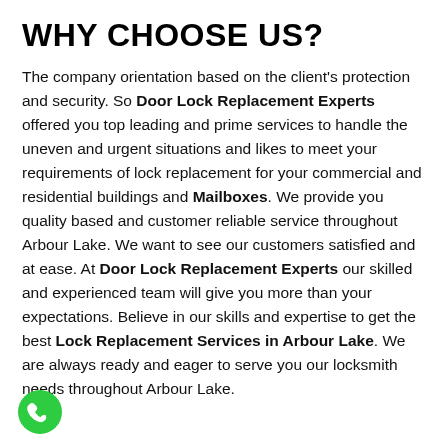WHY CHOOSE US?
The company orientation based on the client's protection and security. So Door Lock Replacement Experts offered you top leading and prime services to handle the uneven and urgent situations and likes to meet your requirements of lock replacement for your commercial and residential buildings and Mailboxes. We provide you quality based and customer reliable service throughout Arbour Lake. We want to see our customers satisfied and at ease. At Door Lock Replacement Experts our skilled and experienced team will give you more than your expectations. Believe in our skills and expertise to get the best Lock Replacement Services in Arbour Lake. We are always ready and eager to serve you our locksmith needs throughout Arbour Lake.
[Figure (illustration): Green circular phone/call icon at bottom left of the page]